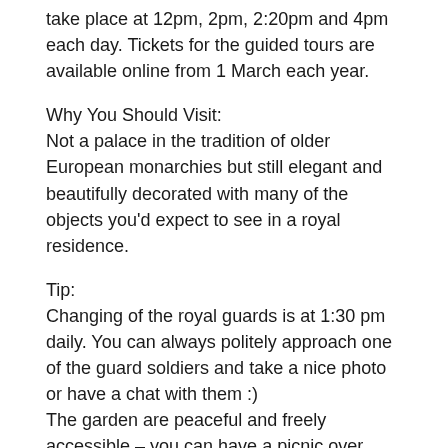take place at 12pm, 2pm, 2:20pm and 4pm each day. Tickets for the guided tours are available online from 1 March each year.
Why You Should Visit:
Not a palace in the tradition of older European monarchies but still elegant and beautifully decorated with many of the objects you'd expect to see in a royal residence.
Tip:
Changing of the royal guards is at 1:30 pm daily. You can always politely approach one of the guard soldiers and take a nice photo or have a chat with them :)
The garden are peaceful and freely accessible – you can have a picnic over there and quietly sit down in the midst of nature.
Opening Hours (during Summer):
Mon-Thu: 11am-5pm; Fri: 12-5pm; Sat-Sun: 10am-5pm
Note that the 2018 season lasted from 23 June until 18 August,